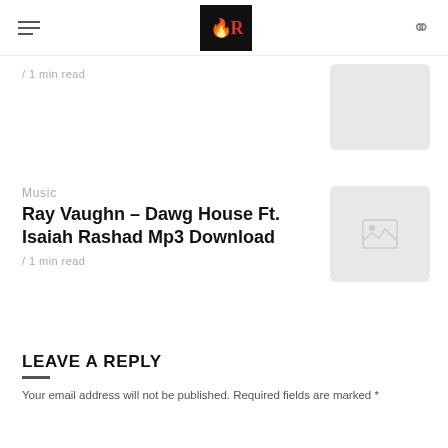Navigation header with hamburger menu, logo, and search icon
/ 1 min read
Music
Ray Vaughn – Dawg House Ft. Isaiah Rashad Mp3 Download
/ 1 min read
LEAVE A REPLY
Your email address will not be published. Required fields are marked *